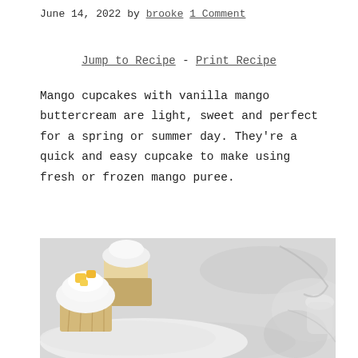June 14, 2022 by brooke 1 Comment
Jump to Recipe - Print Recipe
Mango cupcakes with vanilla mango buttercream are light, sweet and perfect for a spring or summer day. They're a quick and easy cupcake to make using fresh or frozen mango puree.
[Figure (photo): Photo of mango cupcakes with white vanilla buttercream frosting topped with yellow mango pieces, on a white plate against a light marble/grey background]